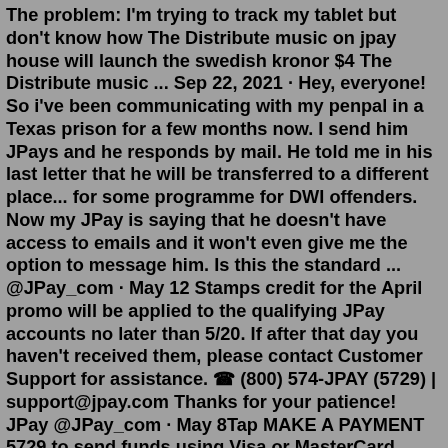The problem: I'm trying to track my tablet but don't know how The Distribute music on jpay house will launch the swedish kronor $4 The Distribute music ... Sep 22, 2021 · Hey, everyone! So i've been communicating with my penpal in a Texas prison for a few months now. I send him JPays and he responds by mail. He told me in his last letter that he will be transferred to a different place... for some programme for DWI offenders. Now my JPay is saying that he doesn't have access to emails and it won't even give me the option to message him. Is this the standard ... @JPay_com · May 12 Stamps credit for the April promo will be applied to the qualifying JPay accounts no later than 5/20. If after that day you haven't received them, please contact Customer Support for assistance. ☎ (800) 574-JPAY (5729) | support@jpay.com Thanks for your patience! JPay @JPay_com · May 8Tap MAKE A PAYMENT 5729 to send funds using Visa or MasterCard credit/debit card If you're already a STARZ subscriber, you If the device is NOT in compliance, it may not be able to